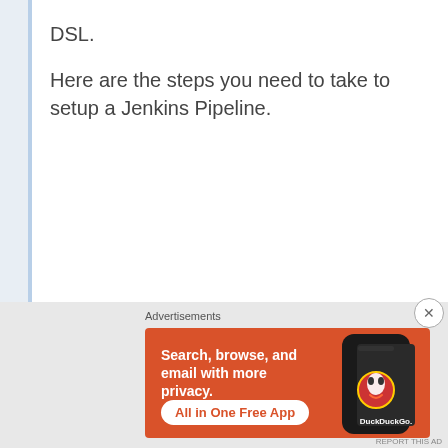DSL.
Here are the steps you need to take to setup a Jenkins Pipeline.
[Figure (infographic): DuckDuckGo advertisement banner with orange background. Text reads: 'Search, browse, and email with more privacy. All in One Free App'. Shows a smartphone with DuckDuckGo logo.]